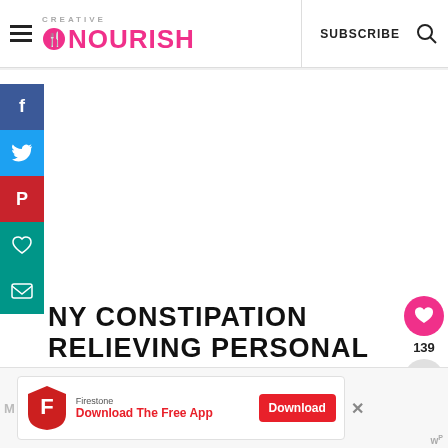CREATIVE NOURISH — SUBSCRIBE
[Figure (screenshot): Social media share sidebar with Facebook, Twitter, Pinterest, heart/save, and email buttons on the left edge]
NY CONSTIPATION RELIEVING PERSONAL FAVORITES? LEAVE A COMMENT BELOW.
[Figure (infographic): Heart/like button showing 139 likes, and a share button]
[Figure (infographic): What's Next arrow link: 5 Recipes To Relieve Bab...]
[Figure (advertisement): Firestone app advertisement: Download The Free App button]